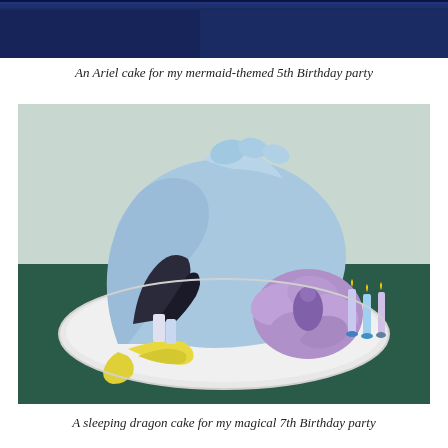[Figure (photo): Top portion of a photo showing a dark blue/navy background, partially cropped at the top of the page]
An Ariel cake for my mermaid-themed 5th Birthday party
[Figure (photo): A sleeping dragon cake decorated with light blue fondant forming an arched dragon body, yellow fondant tail, purple ruffled decorations, and several twisted candles on a white plate, placed on a dark green surface]
A sleeping dragon cake for my magical 7th Birthday party